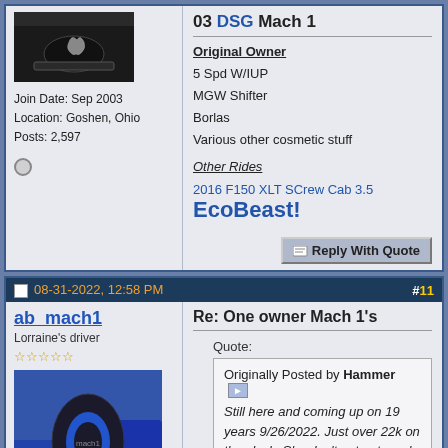[Figure (photo): Ford Mustang avatar photo showing front grille/hood with pony logo, dark colored car]
Join Date: Sep 2003
Location: Goshen, Ohio
Posts: 2,597
03 DSG Mach 1
Original Owner
5 Spd W/IUP
MGW Shifter
Borlas
Various other cosmetic stuff

Other Rides

2016 F150 XLT SCrew Cab 3.5 EcoBeast!
08-31-2022, 12:58 PM   #11
ab_mach1
Lorraine's driver
★★★★★
[Figure (photo): Hand holding a Mach 1 key fob/badge in blue and black, with Mach1 text visible, blue car in background]
Join Date: Apr 2012
Location: Indianapolis, IN
Posts: 2,473
Re: One owner Mach 1's
Quote:
Originally Posted by Hammer
Still here and coming up on 19 years 9/26/2022. Just over 22k on the clock. She don't get out much
I saw your Mach again in Indy last month at the Mustang Club of Indianapolis show. I think you were walking around at the time, but she...